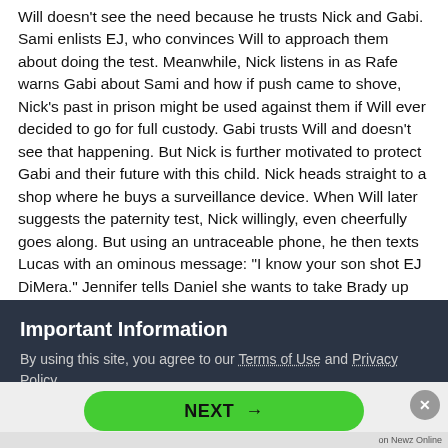Will doesn't see the need because he trusts Nick and Gabi. Sami enlists EJ, who convinces Will to approach them about doing the test. Meanwhile, Nick listens in as Rafe warns Gabi about Sami and how if push came to shove, Nick's past in prison might be used against them if Will ever decided to go for full custody. Gabi trusts Will and doesn't see that happening. But Nick is further motivated to protect Gabi and their future with this child. Nick heads straight to a shop where he buys a surveillance device. When Will later suggests the paternity test, Nick willingly, even cheerfully goes along. But using an untraceable phone, he then texts Lucas with an ominous message: "I know your son shot EJ DiMera." Jennifer tells Daniel she wants to take Brady up on his idea to go out as a foursome with Kristen. They'll drive to Chicago for a night on the town... and then spend the night there. Daniel's more than up for it. While he goes to let Chloe
Important Information
By using this site, you agree to our Terms of Use and Privacy Policy